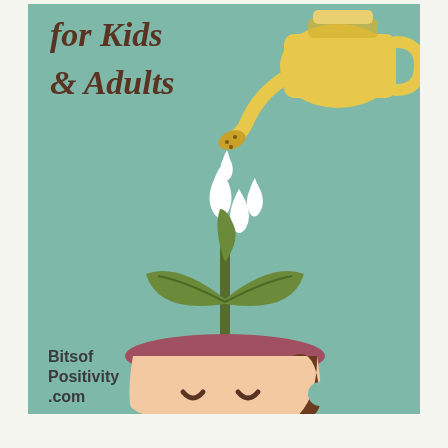[Figure (illustration): Illustration of a child's head (cartoon face with closed eyes and brown hair) used as a flower pot, with a green plant growing out of the top of the head, being watered by a yellow watering can. Water drops fall from the watering can spout onto the plant. Text reads 'for Kids & Adults' in brown cursive on the upper left, and 'BitsofPositivity.com' in the lower left. Background is sage/muted teal green.]